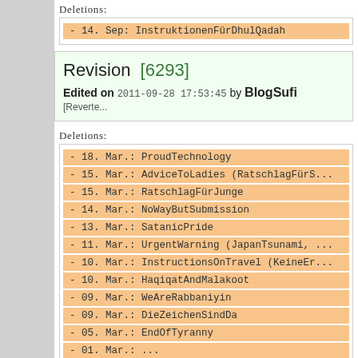Deletions:
- 14. Sep: InstruktionenFürDhulQadah
Revision [6293]
Edited on 2011-09-28 17:53:45 by BlogSufi [Reverte...
Deletions:
- 18. Mar.: ProudTechnology
- 15. Mar.: AdviceToLadies (RatschlagFürS...
- 15. Mar.: RatschlagFürJunge
- 14. Mar.: NoWayButSubmission
- 13. Mar.: SatanicPride
- 11. Mar.: UrgentWarning (JapanTsunami, ...
- 10. Mar.: InstructionsOnTravel (KeineEr...
- 10. Mar.: HaqiqatAndMalakoot
- 09. Mar.: WeAreRabbaniyin
- 09. Mar.: DieZeichenSindDa
- 05. Mar.: EndOfTyranny
- 01. Mar.: ...